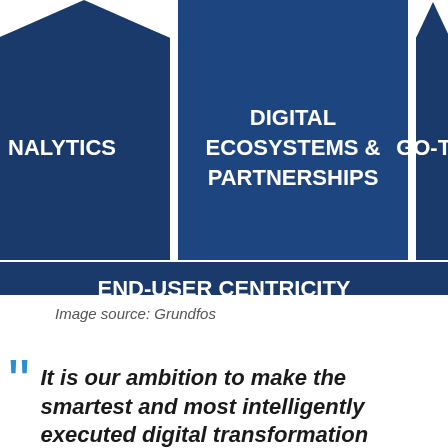[Figure (infographic): Partial view of a Grundfos digital strategy diagram showing three dark navy pentagon/house-shaped pillars: partially visible 'ANALYTICS' on the left, 'DIGITAL ECOSYSTEMS & PARTNERSHIPS' in the center, and partially visible 'GO-TO' on the right. Below the pillars is a dark navy horizontal bar labeled 'END-USER CENTRICITY'.]
Image source: Grundfos
“” It is our ambition to make the smartest and most intelligently executed digital transformation in any